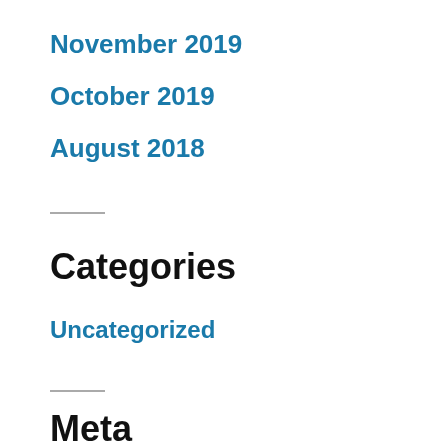November 2019
October 2019
August 2018
Categories
Uncategorized
Meta